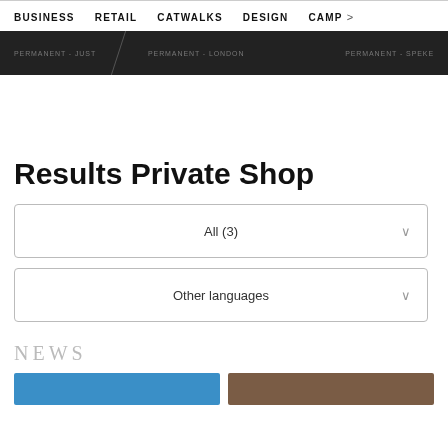BUSINESS   RETAIL   CATWALKS   DESIGN   CAMP >
[Figure (screenshot): Dark banner strip with text: PERMANENT - LONDON and PERMANENT - SPEKE, with a diagonal slash separator]
Results Private Shop
All (3)
Other languages
NEWS
[Figure (photo): Two partially visible thumbnail images at the bottom: one blue, one brown]